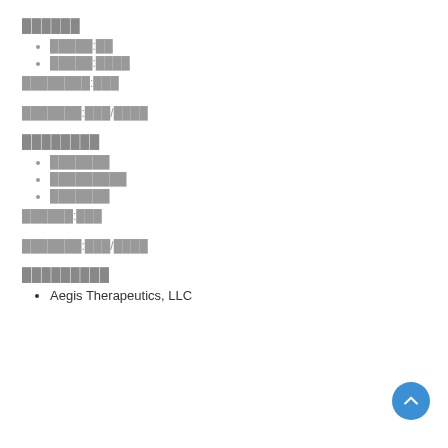██████
█████:██
█████:████
████████:███
███████:███/████
████████
███████
█████████
███████
██████:███
███████:███/████
█████████
Aegis Therapeutics, LLC